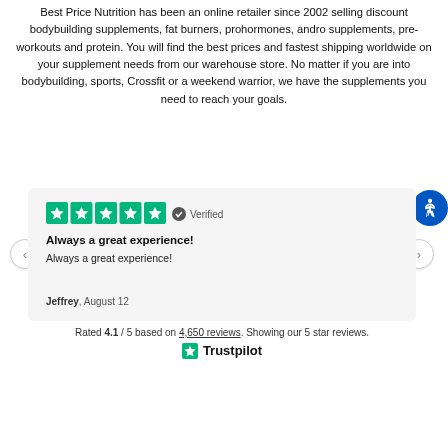Best Price Nutrition has been an online retailer since 2002 selling discount bodybuilding supplements, fat burners, prohormones, andro supplements, pre-workouts and protein. You will find the best prices and fastest shipping worldwide on your supplement needs from our warehouse store. No matter if you are into bodybuilding, sports, Crossfit or a weekend warrior, we have the supplements you need to reach your goals.
[Figure (other): Trustpilot review card showing 5 green stars with Verified badge, review title 'Always a great experience!', review body 'Always a great experience!', reviewer name Jeffrey, August 12. Navigation arrows on left and right. Accessibility icon top right.]
Rated 4.1 / 5 based on 4,650 reviews. Showing our 5 star reviews.
[Figure (logo): Trustpilot logo with green star icon]